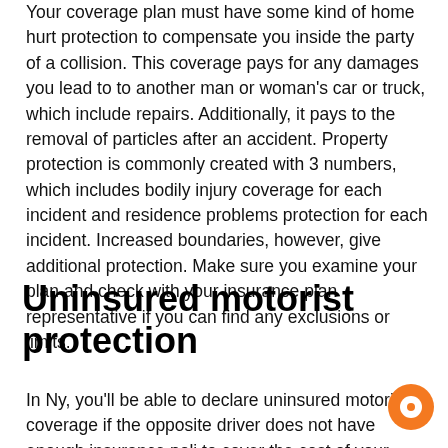Your coverage plan must have some kind of home hurt protection to compensate you inside the party of a collision. This coverage pays for any damages you lead to to another man or woman's car or truck, which include repairs. Additionally, it pays to the removal of particles after an accident. Property protection is commonly created with 3 numbers, which includes bodily injury coverage for each incident and residence problems protection for each incident. Increased boundaries, however, give additional protection. Make sure you examine your plan and check with your insurance plan representative if you can find any exclusions or limits.
Uninsured motorist protection
In Ny, you'll be able to declare uninsured motorist coverage if the opposite driver does not have enough insurance poli to cover the cost of your collision. This coverage applies